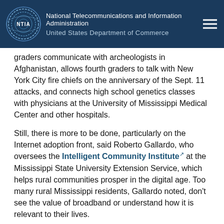National Telecommunications and Information Administration | United States Department of Commerce
graders communicate with archeologists in Afghanistan, allows fourth graders to talk with New York City fire chiefs on the anniversary of the Sept. 11 attacks, and connects high school genetics classes with physicians at the University of Mississippi Medical Center and other hospitals.
Still, there is more to be done, particularly on the Internet adoption front, said Roberto Gallardo, who oversees the Intelligent Community Institute at the Mississippi State University Extension Service, which helps rural communities prosper in the digital age. Too many rural Mississippi residents, Gallardo noted, don't see the value of broadband or understand how it is relevant to their lives.
“I ask rural communities: Are you in? Or are you going to miss this train?” he said. “I tell them: Asking why do I need this is like asking why do I need electricity when I already use candles?”
So the work continues – in Mississippi and across the country – as local communities tackle the challenge of ensuring that all residents have access to advanced